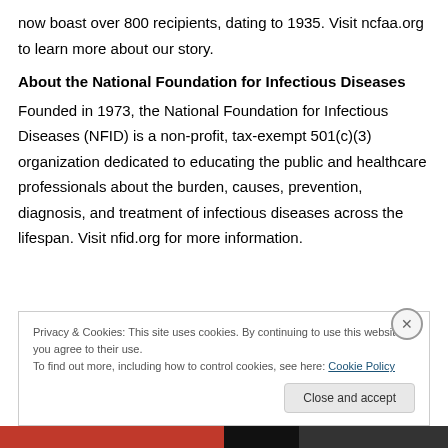now boast over 800 recipients, dating to 1935. Visit ncfaa.org to learn more about our story.
About the National Foundation for Infectious Diseases
Founded in 1973, the National Foundation for Infectious Diseases (NFID) is a non-profit, tax-exempt 501(c)(3) organization dedicated to educating the public and healthcare professionals about the burden, causes, prevention, diagnosis, and treatment of infectious diseases across the lifespan. Visit nfid.org for more information.
Privacy & Cookies: This site uses cookies. By continuing to use this website, you agree to their use.
To find out more, including how to control cookies, see here: Cookie Policy
Close and accept